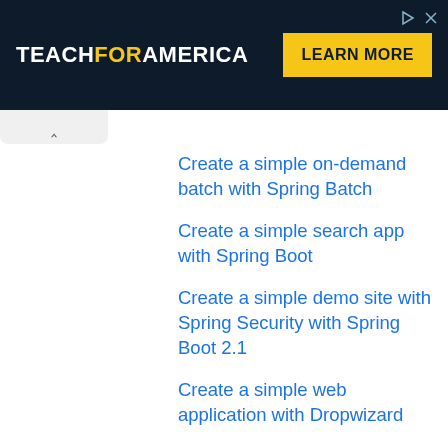[Figure (screenshot): Teach For America advertisement banner with dark navy background, white bold text 'TEACHFORAMERICA' with 'FOR' in yellow, and a yellow 'LEARN MORE' button on the right. Ad control icons (play and close) in top right.]
Create a simple on-demand batch with Spring Batch
Create a simple search app with Spring Boot
Create a simple demo site with Spring Security with Spring Boot 2.1
Create a simple web application with Dropwizard
[Rails withdrawal] Create a simple withdrawal function with rails
Create a simple bar chart with